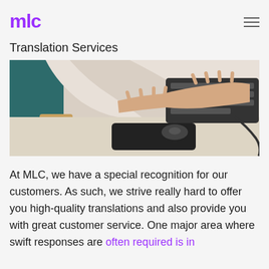mlc
Translation Services
[Figure (photo): Person typing on a keyboard with a mouse and mousepad on a desk, viewed from above and slightly to the side. The person is wearing a white long-sleeve shirt.]
At MLC, we have a special recognition for our customers. As such, we strive really hard to offer you high-quality translations and also provide you with great customer service. One major area where swift responses are often required is in